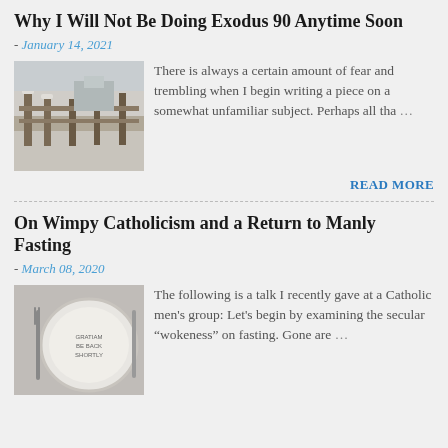Why I Will Not Be Doing Exodus 90 Anytime Soon
- January 14, 2021
[Figure (photo): Outdoor winter scene with a wooden structure or fence and snow]
There is always a certain amount of fear and trembling when I begin writing a piece on a somewhat unfamiliar subject. Perhaps all tha …
READ MORE
On Wimpy Catholicism and a Return to Manly Fasting
- March 08, 2020
[Figure (photo): A plate with fork and knife, with text written on the plate]
The following is a talk I recently gave at a Catholic men's group: Let's begin by examining the secular “wokeness” on fasting. Gone are …